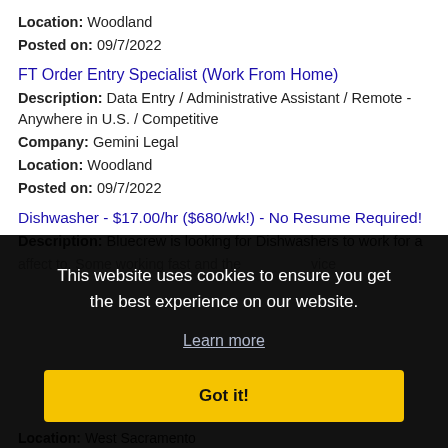Location: Woodland
Posted on: 09/7/2022
FT Order Entry Specialist (Work From Home)
Description: Data Entry / Administrative Assistant / Remote - Anywhere in U.S. / Competitive
Company: Gemini Legal
Location: Woodland
Posted on: 09/7/2022
Dishwasher - $17.00/hr ($680/wk!) - No Resume Required!
Description: Bluecrew is looking for Dishwashers to work for a affect to. Some working fast and the service
This website uses cookies to ensure you get the best experience on our website.
Learn more
Got it!
Location: West Sacramento